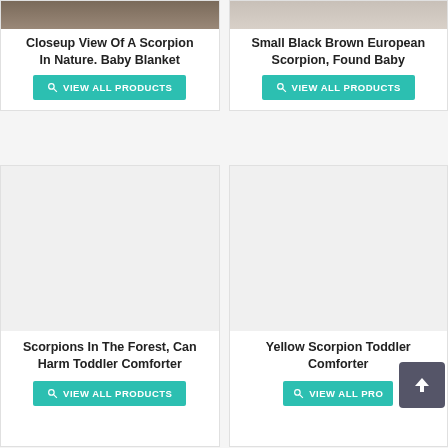[Figure (photo): Closeup photo of a scorpion in nature, dark brown texture, cropped at top]
Closeup View Of A Scorpion In Nature. Baby Blanket
VIEW ALL PRODUCTS
[Figure (photo): Small black brown European scorpion photo, light grey background, cropped at top]
Small Black Brown European Scorpion, Found Baby
VIEW ALL PRODUCTS
[Figure (photo): White/blank image placeholder for scorpions in forest product]
Scorpions In The Forest, Can Harm Toddler Comforter
VIEW ALL PRODUCTS
[Figure (photo): White/blank image placeholder for yellow scorpion product]
Yellow Scorpion Toddler Comforter
VIEW ALL PRO...